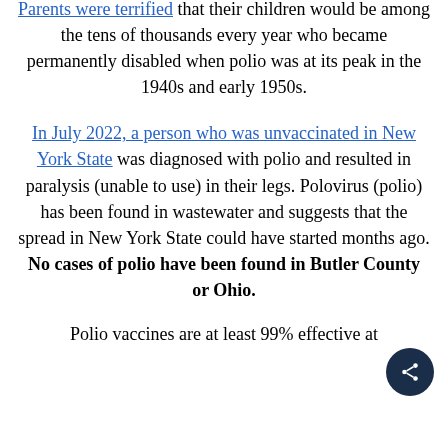Parents were terrified that their children would be among the tens of thousands every year who became permanently disabled when polio was at its peak in the 1940s and early 1950s.
In July 2022, a person who was unvaccinated in New York State was diagnosed with polio and resulted in paralysis (unable to use) in their legs. Polovirus (polio) has been found in wastewater and suggests that the spread in New York State could have started months ago. No cases of polio have been found in Butler County or Ohio.
Polio vaccines are at least 99% effective at